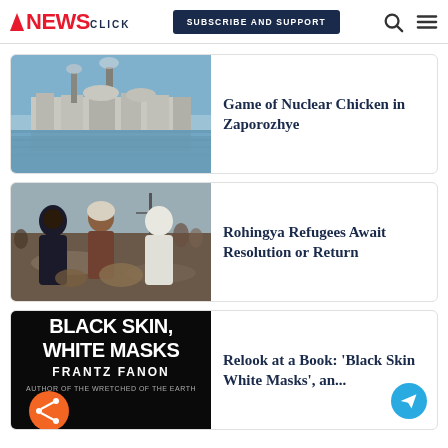NewsClick | SUBSCRIBE AND SUPPORT
[Figure (photo): Nuclear/industrial plant with smokestacks reflected in water]
Game of Nuclear Chicken in Zaporozhye
[Figure (photo): Rohingya refugees carrying belongings on muddy ground]
Rohingya Refugees Await Resolution or Return
[Figure (photo): Black Skin White Masks book cover by Frantz Fanon]
Relook at a Book: 'Black Skin White Masks', an...